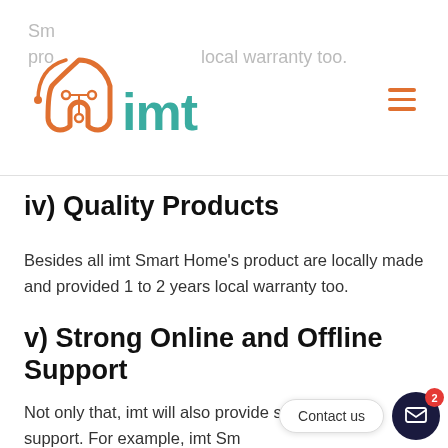Smart Home's product are locally made and provided 1 to 2 years local warranty too.
[Figure (logo): imt Smart Home logo with orange house/circuit icon and teal 'imt' text]
iv) Quality Products
Besides all imt Smart Home's product are locally made and provided 1 to 2 years local warranty too.
v) Strong Online and Offline Support
Not only that, imt will also provide strong online support. For example, imt Smart Home will promote your company through our Facebook page (18k